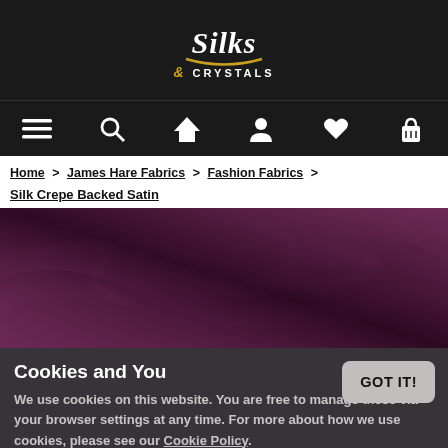[Figure (logo): Silks and Crystals logo — stylized white cursive 'Silks' with gold ampersand and 'CRYSTALS' in white on dark background]
[Figure (infographic): Navigation bar with icons: hamburger menu, search, home, user, heart, shopping basket — white icons on dark background]
Home > James Hare Fabrics > Fashion Fabrics > Silk Crepe Backed Satin
[Figure (photo): Close-up of purple/plum silk crepe backed satin fabric showing shiny folds and draping]
Cookies and You
We use cookies on this website. You are free to manage these via your browser settings at any time. For more about how we use cookies, please see our Cookie Policy.